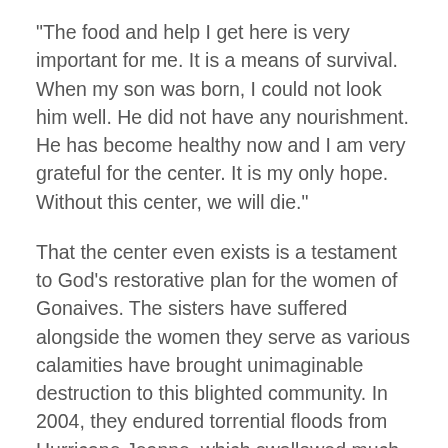“The food and help I get here is very important for me. It is a means of survival. When my son was born, I could not look him well. He did not have any nourishment. He has become healthy now and I am very grateful for the center. It is my only hope. Without this center, we will die.”
That the center even exists is a testament to God’s restorative plan for the women of Gonaives. The sisters have suffered alongside the women they serve as various calamities have brought unimaginable destruction to this blighted community. In 2004, they endured torrential floods from Hurricane Jeanne, which swallowed much of the city and left the sisters with nothing but their lives. Tragedy repeated in 2008, as a wall of mud and water from tropical storms bore down on the hovels of the poor. Once again, the sisters built from scratch because of...